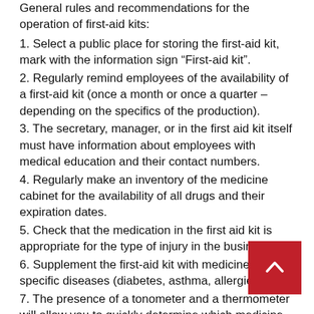General rules and recommendations for the operation of first-aid kits:
1. Select a public place for storing the first-aid kit, mark with the information sign “First-aid kit”.
2. Regularly remind employees of the availability of a first-aid kit (once a month or once a quarter – depending on the specifics of the production).
3. The secretary, manager, or in the first aid kit itself must have information about employees with medical education and their contact numbers.
4. Regularly make an inventory of the medicine cabinet for the availability of all drugs and their expiration dates.
5. Check that the medication in the first aid kit is appropriate for the type of injury in the business.
6. Supplement the first-aid kit with medicines for specific diseases (diabetes, asthma, allergies, etc.)
7. The presence of a tonometer and a thermometer will allow you to quickly determine which medicine should be given to the employee in some cases.
8. It is important to have contacts of relatives or friends who can be contacted in case of an emergency.
9. Make detailed instructions with a list of symptoms and